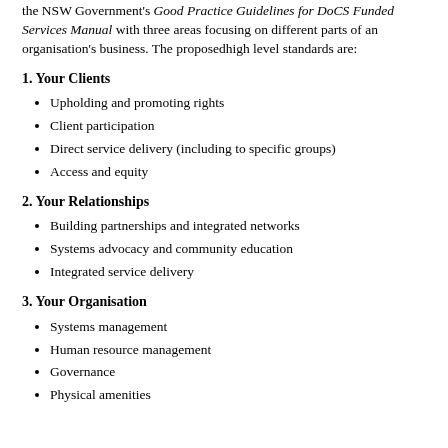the NSW Government's Good Practice Guidelines for DoCS Funded Services Manual with three areas focusing on different parts of an organisation's business. The proposedhigh level standards are:
1. Your Clients
Upholding and promoting rights
Client participation
Direct service delivery (including to specific groups)
Access and equity
2. Your Relationships
Building partnerships and integrated networks
Systems advocacy and community education
Integrated service delivery
3. Your Organisation
Systems management
Human resource management
Governance
Physical amenities